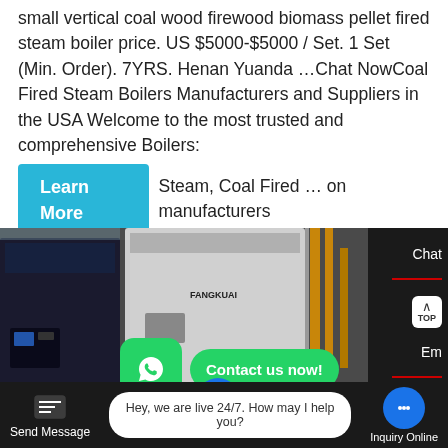small vertical coal wood firewood biomass pellet fired steam boiler price. US $5000-$5000 / Set. 1 Set (Min. Order). 7YRS. Henan Yuanda …Chat NowCoal Fired Steam Boilers Manufacturers and Suppliers in the USA Welcome to the most trusted and comprehensive Boilers:
Learn More  Steam, Coal Fired … on manufacturers
[Figure (photo): Industrial boiler equipment photo showing large black/white vertical boilers with pipes and control panels in a factory setting. Overlaid with WhatsApp icon and 'Contact us now!' green button.]
Chat
Em TOP
Contact
Contact us now!
Hey, we are live 24/7. How may I help you?
Send Message
Inquiry Online